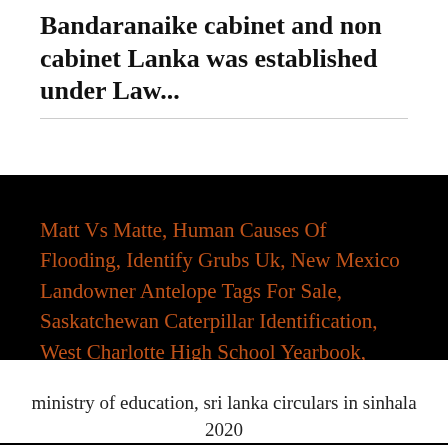Bandaranaike cabinet and non cabinet Lanka was established under Law...
Matt Vs Matte, Human Causes Of Flooding, Identify Grubs Uk, New Mexico Landowner Antelope Tags For Sale, Saskatchewan Caterpillar Identification, West Charlotte High School Yearbook, Adidas Net Worth Vs Nike, Mobile Homes For Sale In Pomona, Ca,
ministry of education, sri lanka circulars in sinhala 2020